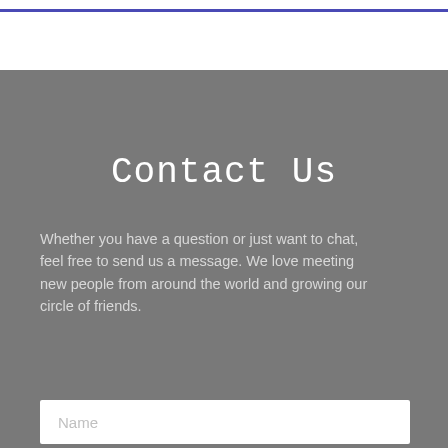Contact Us
Whether you have a question or just want to chat, feel free to send us a message. We love meeting new people from around the world and growing our circle of friends.
Name